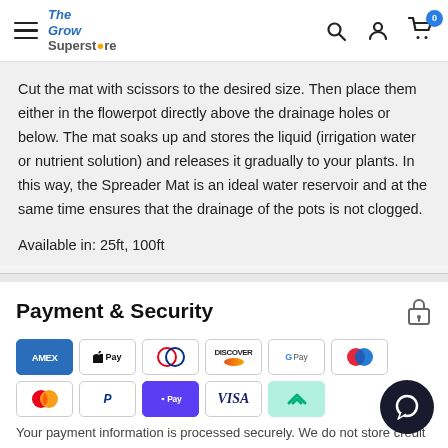The Grow Superstore — navigation header with hamburger menu, logo, search, account, and cart icons
Cut the mat with scissors to the desired size. Then place them either in the flowerpot directly above the drainage holes or below. The mat soaks up and stores the liquid (irrigation water or nutrient solution) and releases it gradually to your plants. In this way, the Spreader Mat is an ideal water reservoir and at the same time ensures that the drainage of the pots is not clogged.
Available in: 25ft, 100ft
Payment & Security
[Figure (logo): Payment method icons: American Express, Apple Pay, Diners Club, Discover, Google Pay, Maestro, Mastercard, PayPal, Shop Pay, Visa, Afterpay]
Your payment information is processed securely. We do not store credit